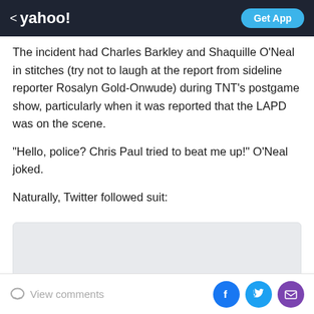< yahoo!  Get App
The incident had Charles Barkley and Shaquille O'Neal in stitches (try not to laugh at the report from sideline reporter Rosalyn Gold-Onwude) during TNT's postgame show, particularly when it was reported that the LAPD was on the scene.
“Hello, police? Chris Paul tried to beat me up!” O’Neal joked.
Naturally, Twitter followed suit:
[Figure (screenshot): Embedded tweet / social media post placeholder shown as a light gray box]
View comments  [Facebook] [Twitter] [Mail]